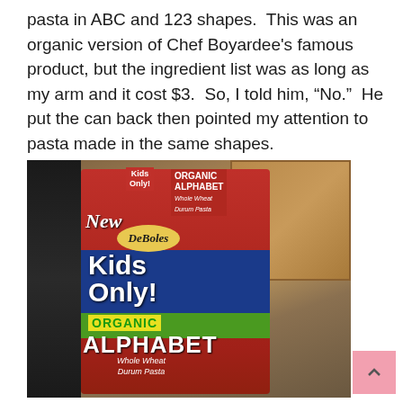pasta in ABC and 123 shapes.  This was an organic version of Chef Boyardee's famous product, but the ingredient list was as long as my arm and it cost $3.  So, I told him, “No.”  He put the can back then pointed my attention to pasta made in the same shapes.
[Figure (photo): Photo of a DeBoles Kids Only! Organic Alphabet Whole Wheat Durum Pasta box being held up in a kitchen. The box is red with blue and yellow accents, showing the brand name DeBoles, Kids Only! in large white text, ORGANIC in green/yellow, and ALPHABET in large white letters.]